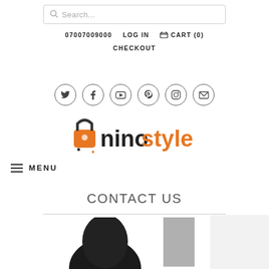[Figure (screenshot): Search bar with magnifying glass icon and placeholder text 'Search...']
07007009000   LOG IN   🛒 CART (0)
CHECKOUT
[Figure (infographic): Row of six social media icons in circles: Twitter, Facebook, YouTube, Pinterest, Instagram, Email]
[Figure (logo): Ninostyle logo with orange padlock icon, bold black 'nino' and orange 'style' text]
≡ MENU
CONTACT US
[Figure (photo): Partial photo of a person's head and a grey rectangle, with a white box on the right edge]